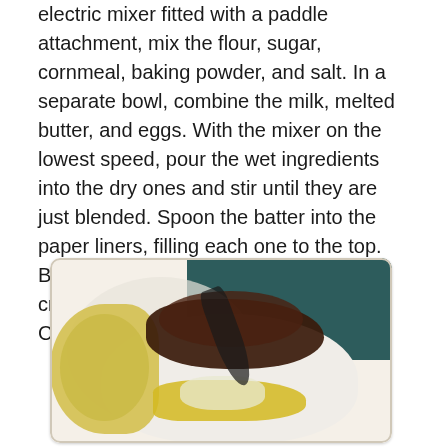electric mixer fitted with a paddle attachment, mix the flour, sugar, cornmeal, baking powder, and salt. In a separate bowl, combine the milk, melted butter, and eggs. With the mixer on the lowest speed, pour the wet ingredients into the dry ones and stir until they are just blended. Spoon the batter into the paper liners, filling each one to the top. Bake for 30 minutes, until the tops are crisp and a toothpick comes out clean. Cool slightly and remove from the pan.
[Figure (photo): A photograph of a food dish — a cornbread muffin on the left alongside a bowl or plate containing dark chili topped with shredded yellow cheese and diced white onions, with a spoon visible.]